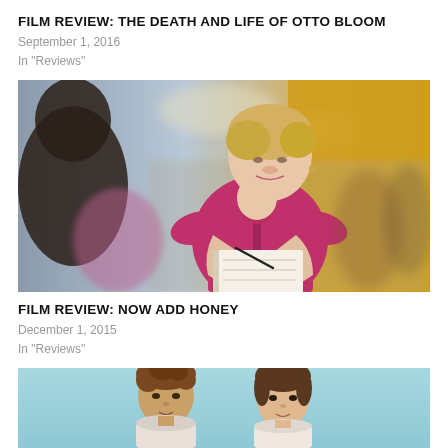FILM REVIEW: THE DEATH AND LIFE OF OTTO BLOOM
September 1, 2016
In "Reviews"
[Figure (photo): A blonde woman in a magenta/pink sleeveless dress, signing a book or notebook with a pen, at what appears to be a public event or book signing. A blurred figure is in the foreground on the left.]
FILM REVIEW: NOW ADD HONEY
December 1, 2015
In "Reviews"
[Figure (photo): Two young people (a curly-haired boy and a girl) against a light blue background, partially visible at the bottom of the page.]